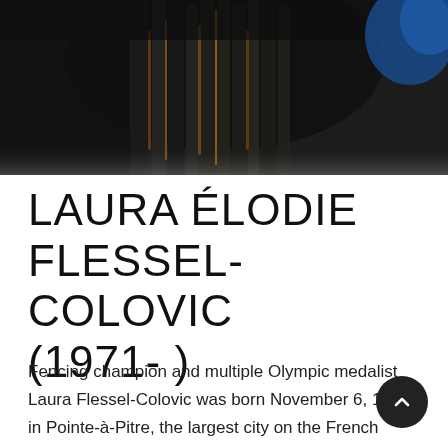[Figure (photo): Close-up photograph of braided hair, dark tones with some orange/brown highlights, blue element visible at upper right corner]
LAURA ÉLODIE FLESSEL-COLOVIC (1971- )
Fencing champion and multiple Olympic medalist Laura Flessel-Colovic was born November 6, 1971, in Pointe-à-Pitre, the largest city on the French Caribbean island of Guadeloupe, one of four children of Edoua Flessel, a meteorologist, and Marie-Éva Flessel,